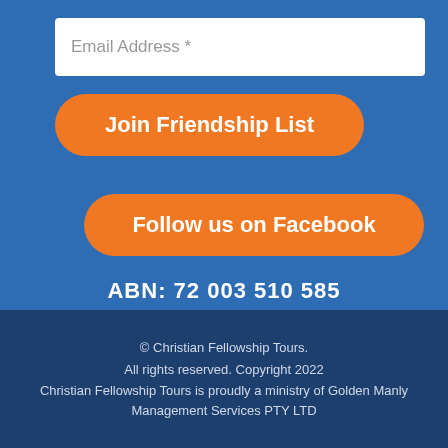Email Address *
Join Friendship List
Follow us on Facebook
ABN: 72 003 510 585
© Christian Fellowship Tours.
All rights reserved. Copyright 2022
Christian Fellowship Tours is proudly a ministry of Golden Manly Management Services PTY LTD